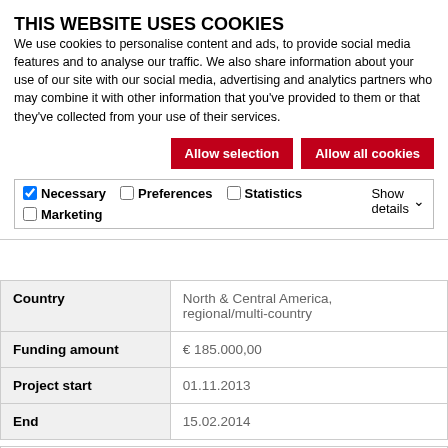THIS WEBSITE USES COOKIES
We use cookies to personalise content and ads, to provide social media features and to analyse our traffic. We also share information about your use of our site with our social media, advertising and analytics partners who may combine it with other information that you've provided to them or that they've collected from your use of their services.
Allow selection
Allow all cookies
Necessary  Preferences  Statistics  Marketing  Show details
| Country |  |
| --- | --- |
| Country | North & Central America, regional/multi-country |
| Funding amount | € 185.000,00 |
| Project start | 01.11.2013 |
| End | 15.02.2014 |
| Projects |  |
| --- | --- |
| Projects | UNISDR - Stärkung von Katastrophenprävention und |